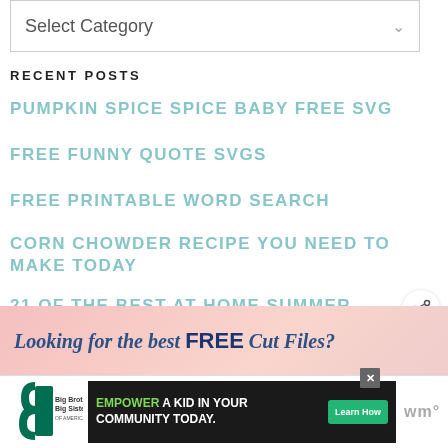Select Category
RECENT POSTS
PUMPKIN SPICE SPICE BABY FREE SVG
FREE FUNNY QUOTE SVGS
FREE PRINTABLE WORD SEARCH
CORN CHOWDER RECIPE YOU NEED TO MAKE TODAY
21 OF THE BEST AT HOME SUMMER ACTIVITIES FOR TEENS AND TWEENS
[Figure (screenshot): What's Next callout with thumbnail image and text: Free Pumpkin Spice SVG]
[Figure (infographic): Banner: Looking for the best FREE Cut Files?]
[Figure (infographic): Advertisement: Big Brothers Big Sisters. EMPOWER A KID IN YOUR COMMUNITY TODAY. Learn How button.]